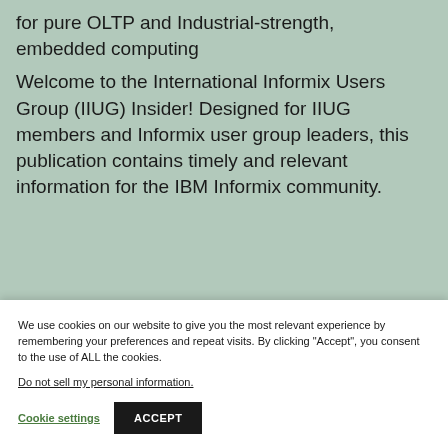Highlights: IDS 10 – IBM's flagship database for pure OLTP and Industrial-strength, embedded computing
Welcome to the International Informix Users Group (IIUG) Insider! Designed for IIUG members and Informix user group leaders, this publication contains timely and relevant information for the IBM Informix community.
We use cookies on our website to give you the most relevant experience by remembering your preferences and repeat visits. By clicking "Accept", you consent to the use of ALL the cookies.
Do not sell my personal information.
Cookie settings
ACCEPT